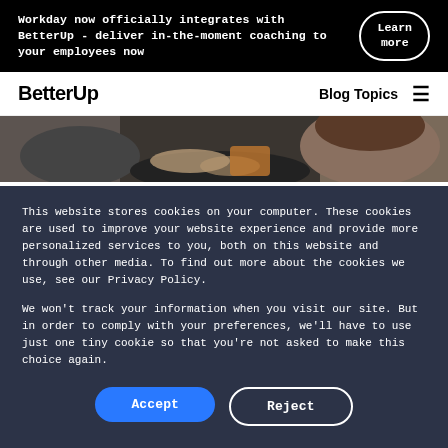Workday now officially integrates with BetterUp - deliver in-the-moment coaching to your employees now
Learn more
BetterUp  Blog Topics
[Figure (photo): Close-up photo of two people sitting together, one appears to be writing or reading a document, partial view of their hands, clothing and hair visible.]
This website stores cookies on your computer. These cookies are used to improve your website experience and provide more personalized services to you, both on this website and through other media. To find out more about the cookies we use, see our Privacy Policy.
We won't track your information when you visit our site. But in order to comply with your preferences, we'll have to use just one tiny cookie so that you're not asked to make this choice again.
Accept
Reject